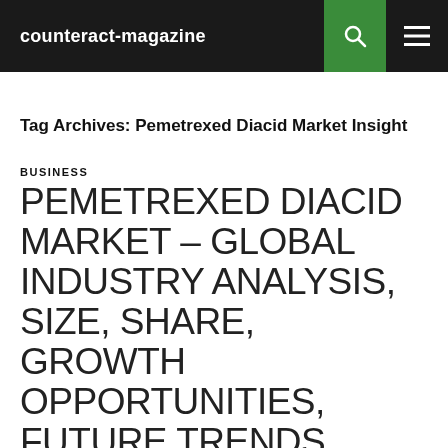counteract-magazine
Tag Archives: Pemetrexed Diacid Market Insight
BUSINESS
PEMETREXED DIACID MARKET – GLOBAL INDUSTRY ANALYSIS, SIZE, SHARE, GROWTH OPPORTUNITIES, FUTURE TRENDS, COVID-19 IMPACT, SWOT ANALYSIS